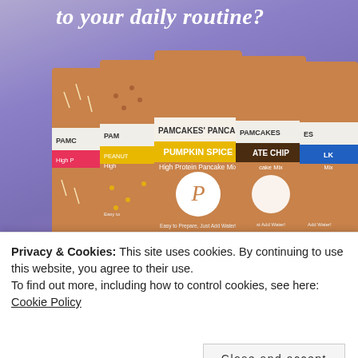to your daily routine?
[Figure (photo): Multiple Pamcakes brand protein pancake mix packages in various flavors including Pumpkin Spice, Peanut Butter, Chocolate Chip, and others, displayed against a purple/lavender gradient background]
Privacy & Cookies: This site uses cookies. By continuing to use this website, you agree to their use.
To find out more, including how to control cookies, see here: Cookie Policy
Close and accept
MENTION THEY ARE LOW CARB, LOW FAT